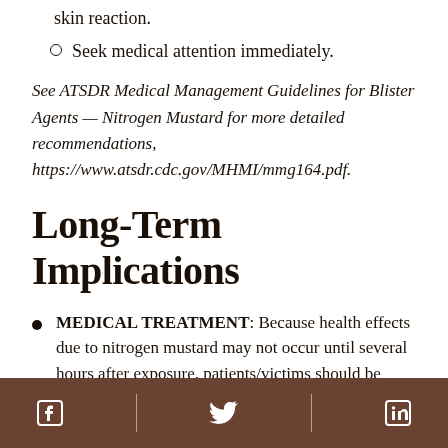skin reaction.
Seek medical attention immediately.
See ATSDR Medical Management Guidelines for Blister Agents — Nitrogen Mustard for more detailed recommendations, https://www.atsdr.cdc.gov/MHMI/mmg164.pdf.
Long-Term Implications
MEDICAL TREATMENT: Because health effects due to nitrogen mustard may not occur until several hours after exposure, patients/victims should be observed in a hospital setting for at least 24 hours. Gastric lavage is contraindicated following ingestion of this agent due to the risk
Facebook | Twitter | LinkedIn